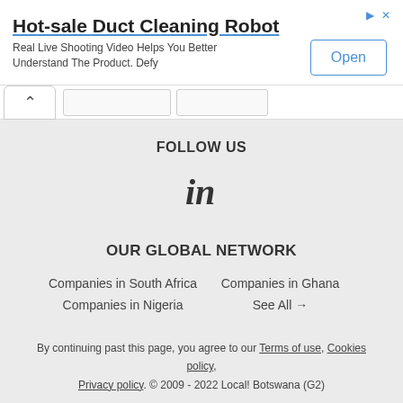[Figure (screenshot): Advertisement banner for Hot-sale Duct Cleaning Robot with an Open button]
FOLLOW US
[Figure (logo): LinkedIn 'in' logo icon]
OUR GLOBAL NETWORK
Companies in South Africa
Companies in Ghana
Companies in Nigeria
See All →
By continuing past this page, you agree to our Terms of use, Cookies policy, Privacy policy. © 2009 - 2022 Local! Botswana (G2)